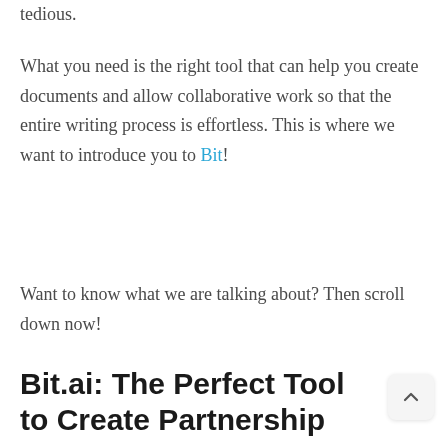tedious.
What you need is the right tool that can help you create documents and allow collaborative work so that the entire writing process is effortless. This is where we want to introduce you to Bit!
Want to know what we are talking about? Then scroll down now!
Bit.ai: The Perfect Tool to Create Partnership